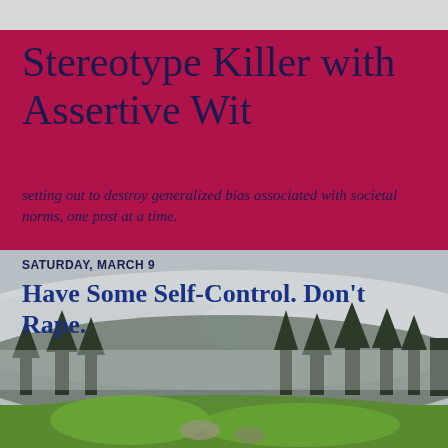Stereotype Killer with Assertive Wit
setting out to destroy generalized bias associated with societal norms, one post at a time.
[Figure (photo): Misty mountain landscape with evergreen trees and green meadow in foreground, fog and cloudy sky in background]
SATURDAY, MARCH 9
Have Some Self-Control. Don't Rape.